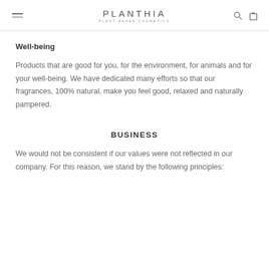PLANTHIA PLANT-BASED COSMETICS
Well-being
Products that are good for you, for the environment, for animals and for your well-being. We have dedicated many efforts so that our fragrances, 100% natural, make you feel good, relaxed and naturally pampered.
BUSINESS
We would not be consistent if our values were not reflected in our company. For this reason, we stand by the following principles: